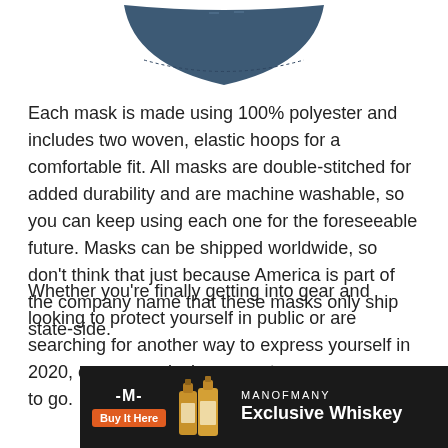[Figure (illustration): Partial view of a navy blue face mask, showing the bottom curved edge and stitching detail against a white background]
Each mask is made using 100% polyester and includes two woven, elastic hoops for a comfortable fit. All masks are double-stitched for added durability and are machine washable, so you can keep using each one for the foreseeable future. Masks can be shipped worldwide, so don't think that just because America is part of the company name that these masks only ship state-side.
Whether you're finally getting into gear and looking to protect yourself in public or are searching for another way to express yourself in 2020, custom or designer masks are the best way to go.
[Figure (advertisement): MANOFMANY Exclusive Whiskey advertisement banner with black background, M logo, Buy It Here orange button, whiskey bottle illustrations, and text reading MANOFMANY Exclusive Whiskey]